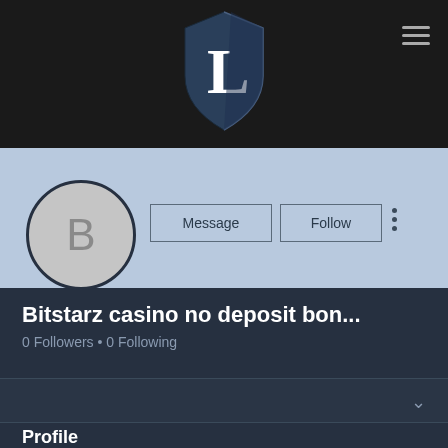[Figure (logo): App logo: shield with letter L on dark background header]
[Figure (illustration): User avatar circle with letter B on light blue profile banner with Message and Follow buttons]
Bitstarz casino no deposit bon...
0 Followers • 0 Following
Profile